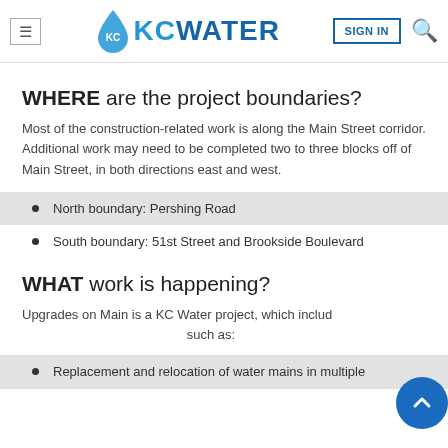KC WATER — navigation bar with menu, logo, sign in, search
WHERE are the project boundaries?
Most of the construction-related work is along the Main Street corridor. Additional work may need to be completed two to three blocks off of Main Street, in both directions east and west.
North boundary: Pershing Road
South boundary: 51st Street and Brookside Boulevard
WHAT work is happening?
Upgrades on Main is a KC Water project, which includes such as:
Replacement and relocation of water mains in multiple